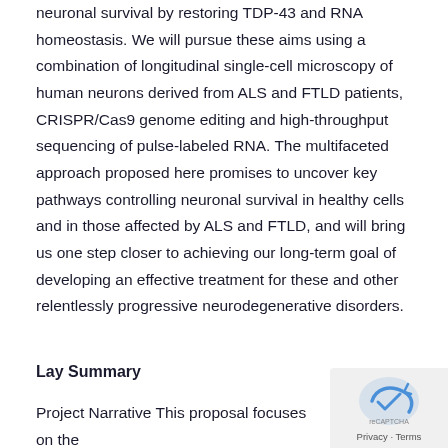neuronal survival by restoring TDP-43 and RNA homeostasis. We will pursue these aims using a combination of longitudinal single-cell microscopy of human neurons derived from ALS and FTLD patients, CRISPR/Cas9 genome editing and high-throughput sequencing of pulse-labeled RNA. The multifaceted approach proposed here promises to uncover key pathways controlling neuronal survival in healthy cells and in those affected by ALS and FTLD, and will bring us one step closer to achieving our long-term goal of developing an effective treatment for these and other relentlessly progressive neurodegenerative disorders.
Lay Summary
Project Narrative This proposal focuses on the
[Figure (other): reCAPTCHA verification widget with Privacy - Terms label]